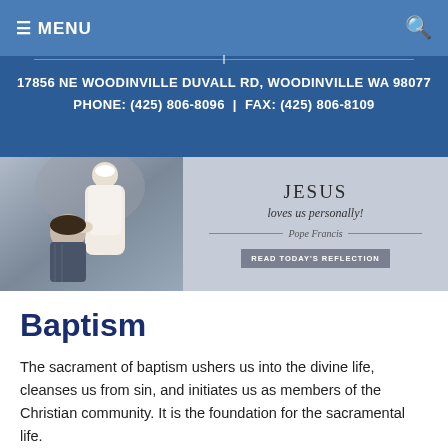≡ MENU
17856 NE WOODINVILLE DUVALL RD, WOODINVILLE WA 98077  PHONE: (425) 806-8096  |  FAX: (425) 806-8109
[Figure (photo): Website banner with photo of Pope Francis blessing a child on left, and a quote 'JESUS loves us personally! — Pope Francis' with a 'READ TODAY'S REFLECTION' button on grey background on right]
Baptism
The sacrament of baptism ushers us into the divine life, cleanses us from sin, and initiates us as members of the Christian community. It is the foundation for the sacramental life.